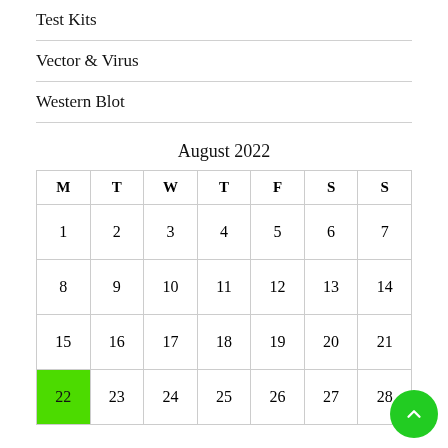Test Kits
Vector & Virus
Western Blot
| M | T | W | T | F | S | S |
| --- | --- | --- | --- | --- | --- | --- |
| 1 | 2 | 3 | 4 | 5 | 6 | 7 |
| 8 | 9 | 10 | 11 | 12 | 13 | 14 |
| 15 | 16 | 17 | 18 | 19 | 20 | 21 |
| 22 | 23 | 24 | 25 | 26 | 27 | 28 |